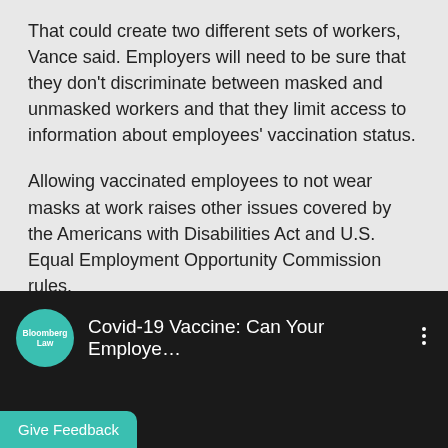That could create two different sets of workers, Vance said. Employers will need to be sure that they don't discriminate between masked and unmasked workers and that they limit access to information about employees' vaccination status.
Allowing vaccinated employees to not wear masks at work raises other issues covered by the Americans with Disabilities Act and U.S. Equal Employment Opportunity Commission rules.
Employers need to consider whether to require proof of vaccination and how to accommodate employees due to a disability or religious reason, Hobbs said.
[Figure (screenshot): Bloomberg Law video thumbnail with teal circular logo and title 'Covid-19 Vaccine: Can Your Employe...' on dark background, with a Give Feedback button in teal at the bottom left.]